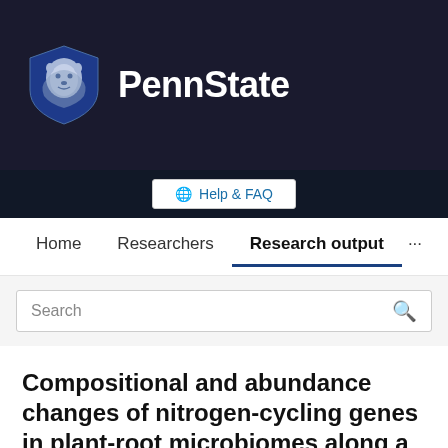[Figure (logo): Penn State University logo with lion shield and PennState wordmark on dark background]
Help & FAQ
Home   Researchers   Research output   ...
Search
Compositional and abundance changes of nitrogen-cycling genes in plant-root microbiomes along a salt marsh chronosequence